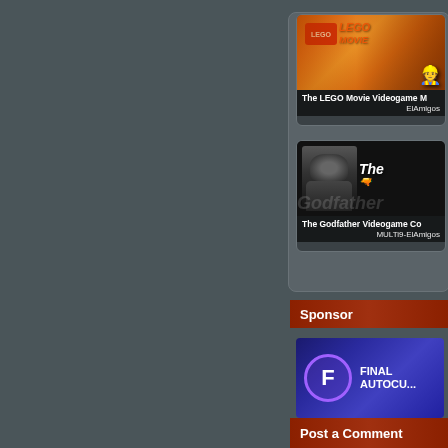[Figure (screenshot): The LEGO Movie Videogame thumbnail with LEGO logo and movie title, characters visible]
The LEGO Movie Videogame M...
ElAmigos
[Figure (screenshot): The Godfather Videogame thumbnail, black and white image of Don Corleone, game title text]
The Godfather Videogame Co...
MULTi9-ElAmigos
Sponsor
[Figure (logo): Final Autocu... sponsor logo with F in purple circle on dark blue background]
Post a Comment